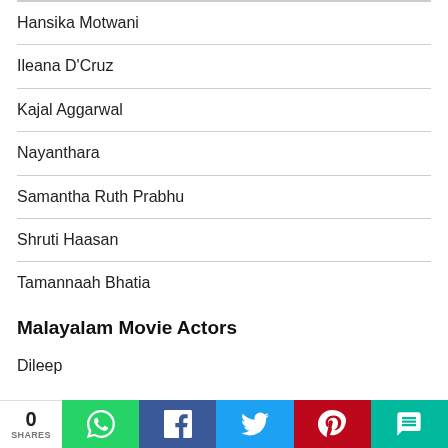Hansika Motwani
Ileana D'Cruz
Kajal Aggarwal
Nayanthara
Samantha Ruth Prabhu
Shruti Haasan
Tamannaah Bhatia
Malayalam Movie Actors
Dileep
0 SHARES | WhatsApp | Facebook | Twitter | Pinterest | SMS